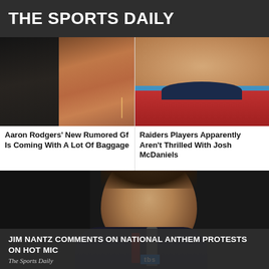THE SPORTS DAILY
[Figure (photo): Two people standing together — a man in a dark polo shirt on the left and a woman with braided hair in a red top on the right]
Aaron Rodgers' New Rumored Gf Is Coming With A Lot Of Baggage
[Figure (photo): Close-up of a man's face, wearing a red and navy sports shirt, against a light blue background]
Raiders Players Apparently Aren't Thrilled With Josh McDaniels
[Figure (photo): Man in a suit holding a TBS microphone, photographed against a dark background at a sports event]
JIM NANTZ COMMENTS ON NATIONAL ANTHEM PROTESTS ON HOT MIC
The Sports Daily